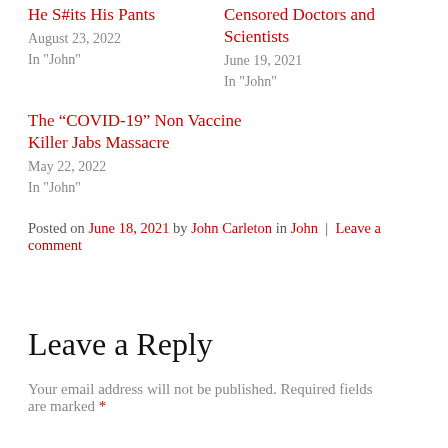He S#its His Pants
August 23, 2022
In "John"
Censored Doctors and Scientists
June 19, 2021
In "John"
The “COVID-19” Non Vaccine Killer Jabs Massacre
May 22, 2022
In "John"
Posted on June 18, 2021 by John Carleton in John | Leave a comment
Leave a Reply
Your email address will not be published. Required fields are marked *